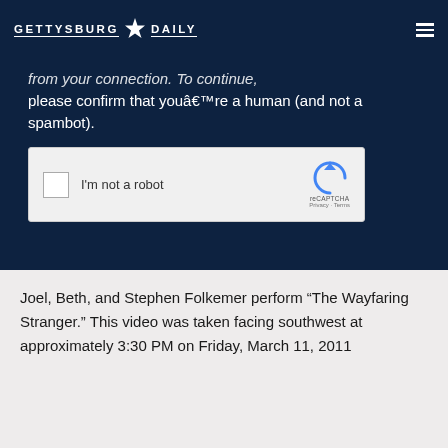GETTYSBURG DAILY
from your connection. To continue, please confirm that youâ€™re a human (and not a spambot).
[Figure (screenshot): reCAPTCHA widget with checkbox labeled 'I'm not a robot' and the reCAPTCHA logo with Privacy and Terms links]
Joel, Beth, and Stephen Folkemer perform “The Wayfaring Stranger.” This video was taken facing southwest at approximately 3:30 PM on Friday, March 11, 2011